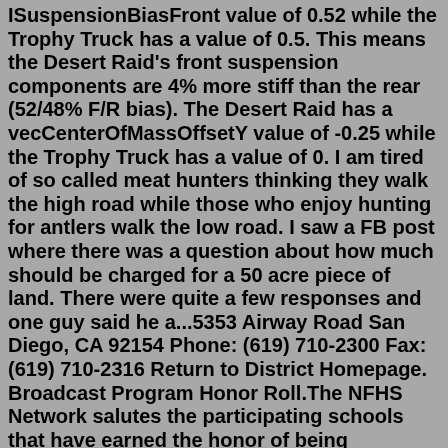ISuspensionBiasFront value of 0.52 while the Trophy Truck has a value of 0.5. This means the Desert Raid's front suspension components are 4% more stiff than the rear (52/48% F/R bias). The Desert Raid has a vecCenterOfMassOffsetY value of -0.25 while the Trophy Truck has a value of 0. I am tired of so called meat hunters thinking they walk the high road while those who enjoy hunting for antlers walk the low road. I saw a FB post where there was a question about how much should be charged for a 50 acre piece of land. There were quite a few responses and one guy said he a...5353 Airway Road San Diego, CA 92154 Phone: (619) 710-2300 Fax: (619) 710-2316 Return to District Homepage. Broadcast Program Honor Roll.The NFHS Network salutes the participating schools that have earned the honor of being recognized as Elite and Select Schools for the 2019-2020 school year. Contact your Student Broadcast Program manager or email [email protected]nfhsnetwork.com to find out ...Ken Block's 1400-hp drift missile takes another victim. When Ken